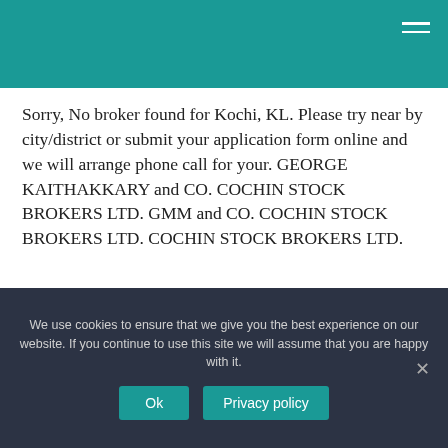Sorry, No broker found for Kochi, KL. Please try near by city/district or submit your application form online and we will arrange phone call for your. GEORGE KAITHAKKARY and CO. COCHIN STOCK BROKERS LTD. GMM and CO. COCHIN STOCK BROKERS LTD. COCHIN STOCK BROKERS LTD.
We use cookies to ensure that we give you the best experience on our website. If you continue to use this site we will assume that you are happy with it.